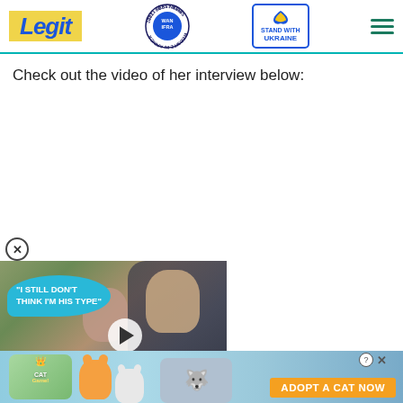[Figure (logo): Legit.ng website header with Legit logo in yellow, WAN-IFRA 2021 Best News Website in Africa badge, Stand With Ukraine badge, and hamburger menu icon]
Check out the video of her interview below:
[Figure (screenshot): Video thumbnail showing a couple at a formal event, with a cyan speech bubble overlay reading '"I STILL DON'T THINK I'M HIS TYPE"' and a play button in the center. A red chevron/down button is visible at the bottom right of the video.]
[Figure (screenshot): Advertisement banner at the bottom showing Cat Game mobile game ad with cartoon cats and 'ADOPT A CAT NOW' text on orange background, with close (X) and help (?) buttons]